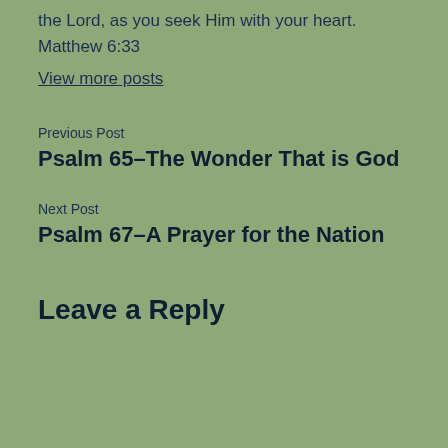the Lord, as you seek Him with your heart. Matthew 6:33
View more posts
Previous Post
Psalm 65–The Wonder That is God
Next Post
Psalm 67–A Prayer for the Nation
Leave a Reply